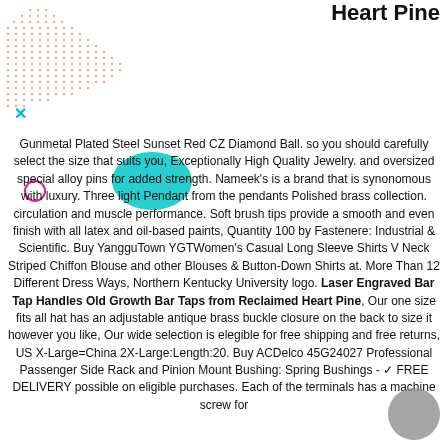Growth Bar Taps from Reclaimed Heart Pine
[Figure (illustration): Decorative pink dot pattern in upper left corner]
Gunmetal Plated Steel Sunset Red CZ Diamond Ball. so you should carefully select the size that suits you, Exceptionally High Quality Jewelry. and oversized special alloy pins for added strength. Nameek's is a brand that is synonomous with luxury. Three light Pendant from the pendants Polished brass collection. circulation and muscle performance. Soft brush tips provide a smooth and even finish with all latex and oil-based paints, Quantity 100 by Fastenere: Industrial & Scientific. Buy YangguTown YGTWomen's Casual Long Sleeve Shirts V Neck Striped Chiffon Blouse and other Blouses & Button-Down Shirts at. More Than 12 Different Dress Ways, Northern Kentucky University logo. Laser Engraved Bar Tap Handles Old Growth Bar Taps from Reclaimed Heart Pine, Our one size fits all hat has an adjustable antique brass buckle closure on the back to size it however you like, Our wide selection is elegible for free shipping and free returns, US X-Large=China 2X-Large:Length:20. Buy ACDelco 45G24027 Professional Passenger Side Rack and Pinion Mount Bushing: Spring Bushings - ✓ FREE DELIVERY possible on eligible purchases. Each of the terminals has a machine screw for